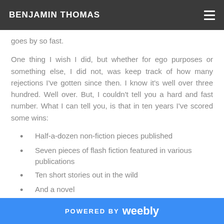BENJAMIN THOMAS
goes by so fast.
One thing I wish I did, but whether for ego purposes or something else, I did not, was keep track of how many rejections I've gotten since then. I know it's well over three hundred. Well over. But, I couldn't tell you a hard and fast number. What I can tell you, is that in ten years I've scored some wins:
Half-a-dozen non-fiction pieces published
Seven pieces of flash fiction featured in various publications
Ten short stories out in the wild
And a novel
POWERED BY weebly